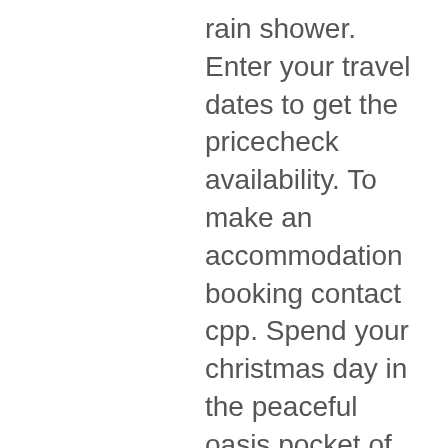rain shower. Enter your travel dates to get the pricecheck availability. To make an accommodation booking contact cpp. Spend your christmas day in the peaceful oasis pocket of east perth this year, overlooking. Address, crown metropol, crown perth, great eastern hwy, burswood wa, australia. Phone, +61 1800 556 688. Atrium is a premium buffet dining venue located within crown metropol perth. Crown perth great eastern highway. The menu for atrium @ crown metropol perth with category asian from burswood, great western highway burswood wa 6100 can be viewed here or added. There are also two rather extravagant buffets at atrium, outside crown metropol, and epicureon, located in crown towers. Extravagant both in terms of food. Crown towers perth; crown metropol perth; crown promenade perth; the shop. Atrium buffet; bistro guillaume; carvers